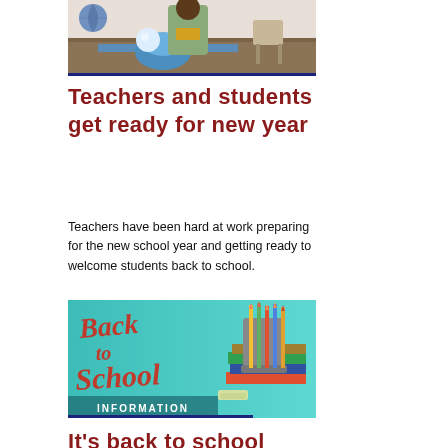[Figure (photo): A teacher in a classroom, wearing a green sweater and yellow top, interacting with items on a lab table. A globe is visible in the background.]
Teachers and students get ready for new year
Teachers have been hard at work preparing for the new school year and getting ready to welcome students back to school.
[Figure (infographic): Back to School Information graphic with colorful pencils in a cup and books, teal background with red script text reading 'Back to School' and white text 'INFORMATION']
It's back to school